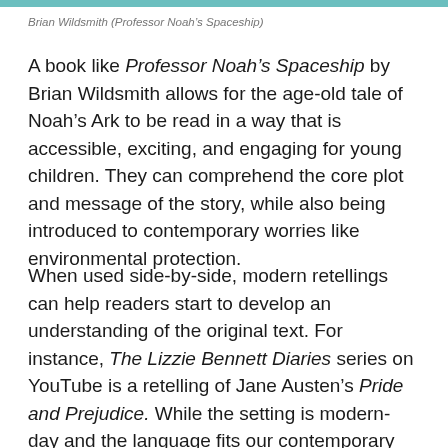Brian Wildsmith (Professor Noah's Spaceship)
A book like Professor Noah's Spaceship by Brian Wildsmith allows for the age-old tale of Noah's Ark to be read in a way that is accessible, exciting, and engaging for young children. They can comprehend the core plot and message of the story, while also being introduced to contemporary worries like environmental protection.
When used side-by-side, modern retellings can help readers start to develop an understanding of the original text. For instance, The Lizzie Bennett Diaries series on YouTube is a retelling of Jane Austen's Pride and Prejudice. While the setting is modern-day and the language fits our contemporary vocabulary, the story itself follows the same path and the underlying